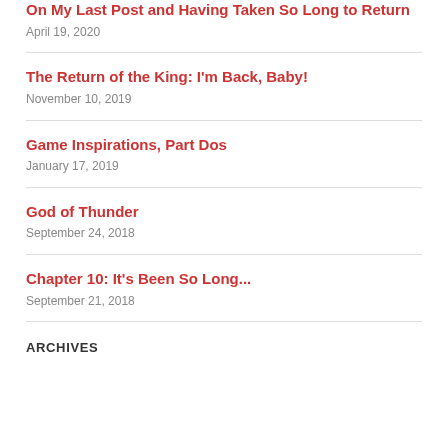On My Last Post and Having Taken So Long to Return
April 19, 2020
The Return of the King: I'm Back, Baby!
November 10, 2019
Game Inspirations, Part Dos
January 17, 2019
God of Thunder
September 24, 2018
Chapter 10: It's Been So Long...
September 21, 2018
ARCHIVES